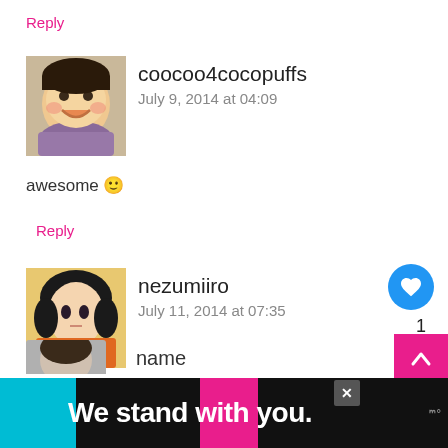Reply
[Figure (photo): Avatar of user coocoo4cocopuffs: laughing baby with dark hair]
coocoo4cocopuffs
July 9, 2014 at 04:09
awesome 🙂
Reply
[Figure (photo): Avatar of user nezumiiro: anime character illustration]
nezumiiro
July 11, 2014 at 07:35
Man, Grinding is ROUGH, sure would like a free key *hint* *hint*
Reply
[Figure (screenshot): What's Next promotional box: Win a pair of Step Up...]
name
[Figure (infographic): Ad banner: We stand with you. with cyan and pink color strips]